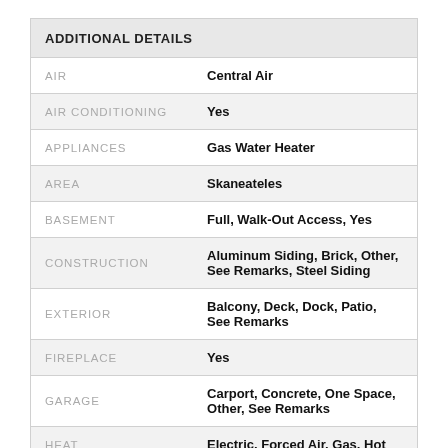ADDITIONAL DETAILS
| Field | Value |
| --- | --- |
| AIR | Central Air |
| AIR CONDITIONING | Yes |
| APPLIANCES | Gas Water Heater |
| AREA | Skaneateles |
| BASEMENT | Full, Walk-Out Access, Yes |
| CONSTRUCTION | Aluminum Siding, Brick, Other, See Remarks, Steel Siding |
| EXTERIOR | Balcony, Deck, Dock, Patio, See Remarks |
| FIREPLACE | Yes |
| GARAGE | Carport, Concrete, One Space, Other, See Remarks |
| HEAT | Electric, Forced Air, Gas, Hot |